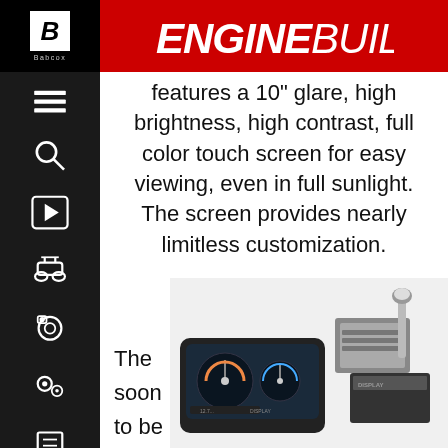ENGINE BUILDER
features a 10" glare, high brightness, high contrast, full color touch screen for easy viewing, even in full sunlight. The screen provides nearly limitless customization.
By Engine Builder on Nov 20, 2014
The soon to be
[Figure (photo): Product photo showing an engine display/dash monitor screen and associated hardware components on a dark background.]